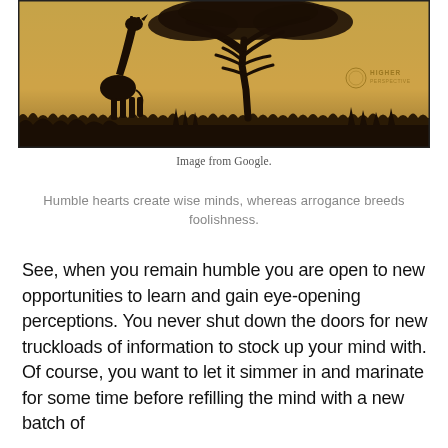[Figure (illustration): Silhouette illustration of a giraffe standing beside a large acacia tree against a warm golden/sepia background with grass in the foreground. Watermark reads 'HIGHER PERSPECTIVE' in lower right corner.]
Image from Google.
Humble hearts create wise minds, whereas arrogance breeds foolishness.
See, when you remain humble you are open to new opportunities to learn and gain eye-opening perceptions. You never shut down the doors for new truckloads of information to stock up your mind with. Of course, you want to let it simmer in and marinate for some time before refilling the mind with a new batch of